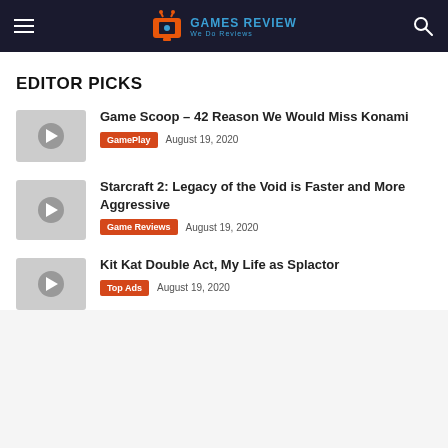Navigation bar with menu, logo, and search icon
EDITOR PICKS
Game Scoop – 42 Reason We Would Miss Konami | GamePlay | August 19, 2020
Starcraft 2: Legacy of the Void is Faster and More Aggressive | Game Reviews | August 19, 2020
Kit Kat Double Act, My Life as Splactor | Top Ads | August 19, 2020